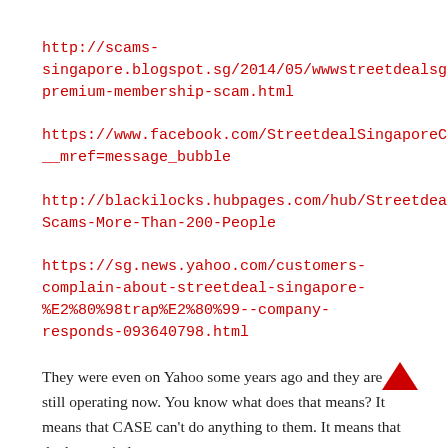http://scams-singapore.blogspot.sg/2014/05/wwwstreetdealsg-premium-membership-scam.html
https://www.facebook.com/StreetdealSingaporeConsumersInterest?__mref=message_bubble
http://blackilocks.hubpages.com/hub/Streetdeal-Scams-More-Than-200-People
https://sg.news.yahoo.com/customers-complain-about-streetdeal-singapore-%E2%80%98trap%E2%80%99--company-responds-093640798.html
They were even on Yahoo some years ago and they are still operating now. You know what does that means? It means that CASE can't do anything to them. It means that the law can't do